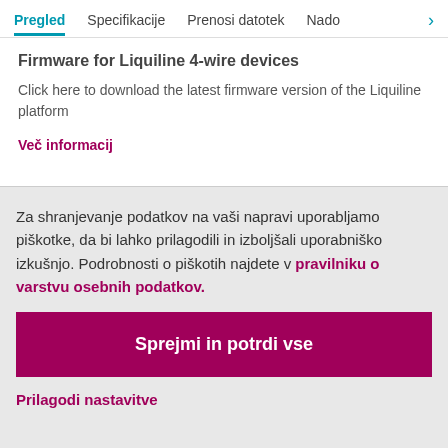Pregled  Specifikacije  Prenosi datotek  Nado >
Firmware for Liquiline 4-wire devices
Click here to download the latest firmware version of the Liquiline platform
Več informacij
Za shranjevanje podatkov na vaši napravi uporabljamo piškotke, da bi lahko prilagodili in izboljšali uporabniško izkušnjo. Podrobnosti o piškotih najdete v pravilniku o varstvu osebnih podatkov.
Sprejmi in potrdi vse
Prilagodi nastavitve